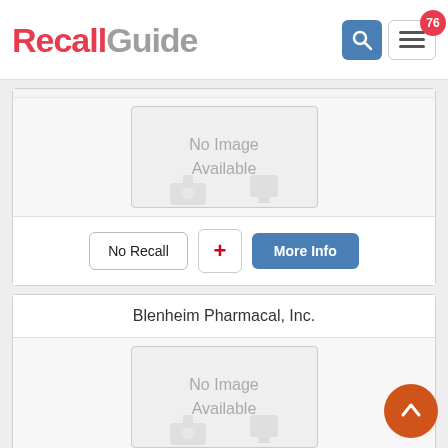[Figure (logo): RecallGuide logo with red 'Recall' and grey 'Guide' text, search and menu icons, badge showing 76]
[Figure (screenshot): No Image Available placeholder box for first product card]
No Recall
+
More Info
Blenheim Pharmacal, Inc.
[Figure (screenshot): No Image Available placeholder box for Blenheim Pharmacal card]
No Recall
+
More Info